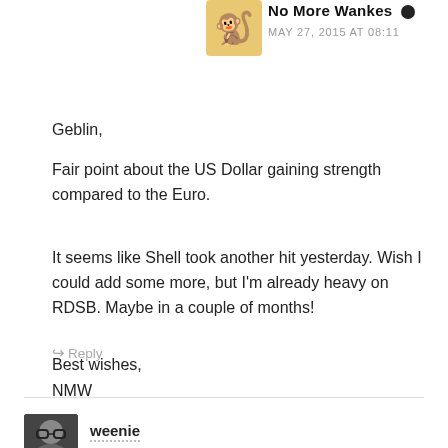No More Wankes — MAY 27, 2015 AT 08:11
Geblin,
Fair point about the US Dollar gaining strength compared to the Euro.
It seems like Shell took another hit yesterday. Wish I could add some more, but I'm already heavy on RDSB. Maybe in a couple of months!
Best wishes,
NMW
↪ Reply
weenie